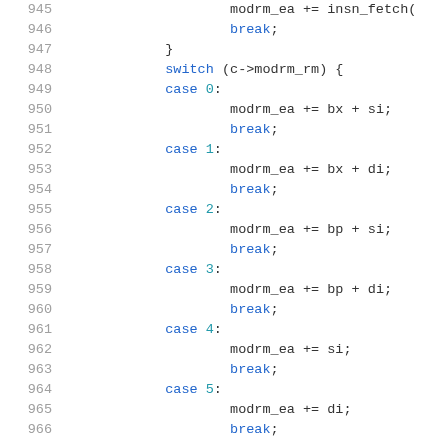Code listing lines 945-965: C switch statement for modrm_rm cases
945     modrm_ea += insn_fetch(
946     break;
947     }
948     switch (c->modrm_rm) {
949     case 0:
950         modrm_ea += bx + si;
951         break;
952     case 1:
953         modrm_ea += bx + di;
954         break;
955     case 2:
956         modrm_ea += bp + si;
957         break;
958     case 3:
959         modrm_ea += bp + di;
960         break;
961     case 4:
962         modrm_ea += si;
963         break;
964     case 5:
965         modrm_ea += di;
966         break;